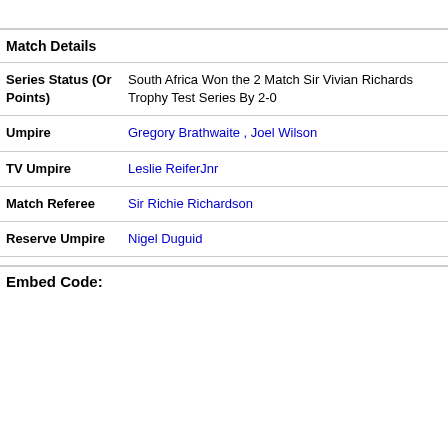| Match Details |  |
| --- | --- |
| Series Status (Or Points) | South Africa Won the 2 Match Sir Vivian Richards Trophy Test Series By 2-0 |
| Umpire | Gregory Brathwaite , Joel Wilson |
| TV Umpire | Leslie ReiferJnr |
| Match Referee | Sir Richie Richardson |
| Reserve Umpire | Nigel Duguid |
Embed Code: